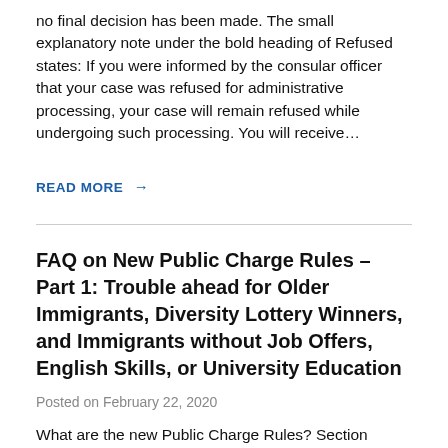no final decision has been made. The small explanatory note under the bold heading of Refused states: If you were informed by the consular officer that your case was refused for administrative processing, your case will remain refused while undergoing such processing. You will receive…
READ MORE →
FAQ on New Public Charge Rules – Part 1: Trouble ahead for Older Immigrants, Diversity Lottery Winners, and Immigrants without Job Offers, English Skills, or University Education
Posted on February 22, 2020
What are the new Public Charge Rules? Section 212(a)(4)